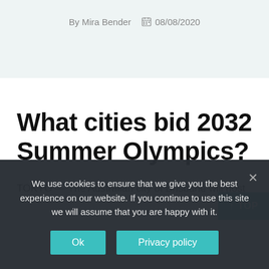By Mira Bender   08/08/2020
What cities bid 2032 Summer Olympics?
TOKYO — The Australian city of Brisbane will host
We use cookies to ensure that we give you the best experience on our website. If you continue to use this site we will assume that you are happy with it.